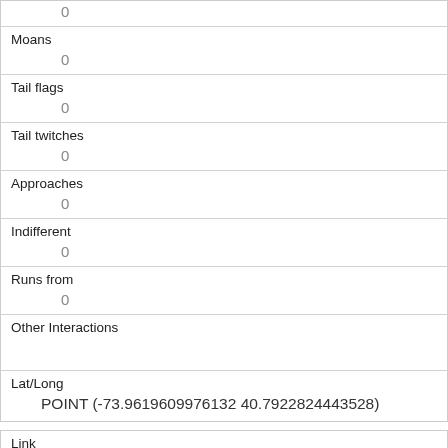|  | 0 |
| Moans | 0 |
| Tail flags | 0 |
| Tail twitches | 0 |
| Approaches | 0 |
| Indifferent | 0 |
| Runs from | 0 |
| Other Interactions |  |
| Lat/Long | POINT (-73.9619609976132 40.7922824443528) |
| Link | 1293 |
| rowid |  |